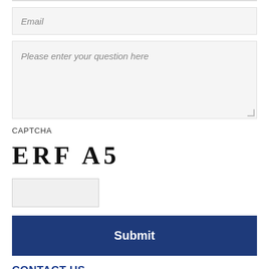Email
Please enter your question here
CAPTCHA
[Figure (other): CAPTCHA image showing text: ERF A 5]
Submit
CONTACT US